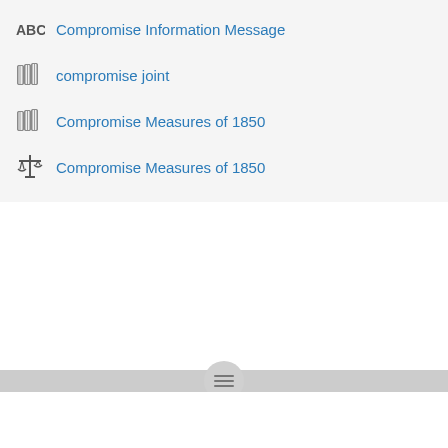Compromise Information Message
compromise joint
Compromise Measures of 1850
Compromise Measures of 1850